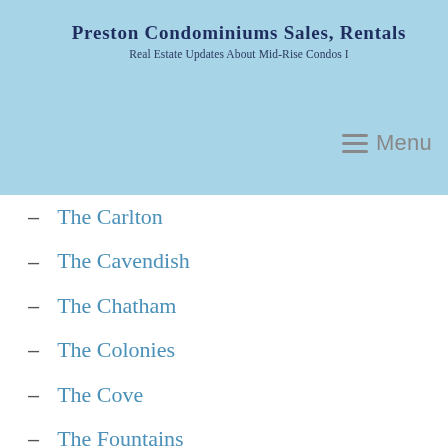Preston Condominiums Sales, Rentals
Real Estate Updates About Mid-Rise Condos I
The Carlton
The Cavendish
The Chatham
The Colonies
The Cove
The Fountains
The Hartford
The Hawthorn Condominium